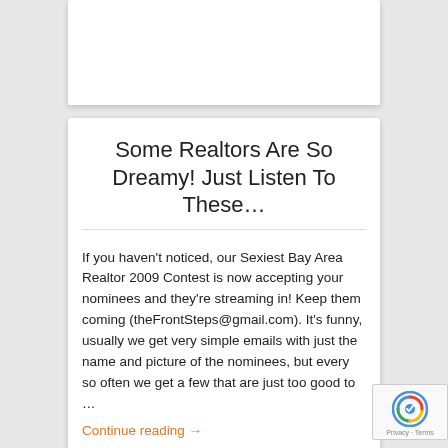Some Realtors Are So Dreamy! Just Listen To These…
If you haven't noticed, our Sexiest Bay Area Realtor 2009 Contest is now accepting your nominees and they're streaming in! Keep them coming (theFrontSteps@gmail.com). It's funny, usually we get very simple emails with just the name and picture of the nominees, but every so often we get a few that are just too good to …
Continue reading →